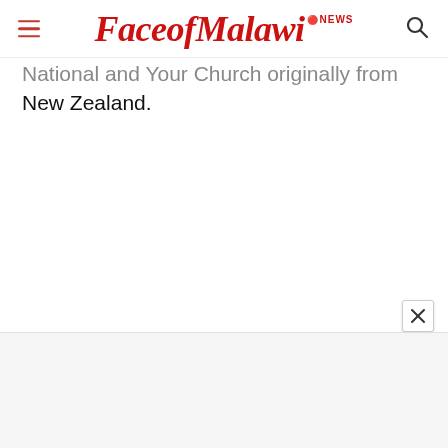FaceofMalawi NEWS
National and Your Church originally from New Zealand.